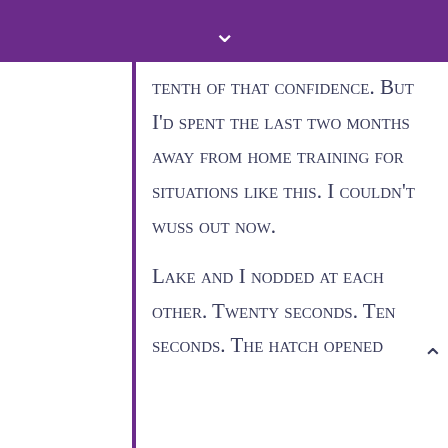▾
tenth of that confidence. But I'd spent the last two months away from home training for situations like this. I couldn't wuss out now.
Lake and I nodded at each other. Twenty seconds. Ten seconds. The hatch opened